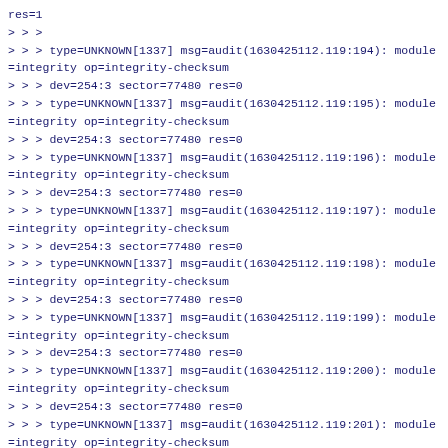res=1
> > >
> > > type=UNKNOWN[1337] msg=audit(1630425112.119:194): module=integrity op=integrity-checksum
> > > dev=254:3 sector=77480 res=0
> > > type=UNKNOWN[1337] msg=audit(1630425112.119:195): module=integrity op=integrity-checksum
> > > dev=254:3 sector=77480 res=0
> > > type=UNKNOWN[1337] msg=audit(1630425112.119:196): module=integrity op=integrity-checksum
> > > dev=254:3 sector=77480 res=0
> > > type=UNKNOWN[1337] msg=audit(1630425112.119:197): module=integrity op=integrity-checksum
> > > dev=254:3 sector=77480 res=0
> > > type=UNKNOWN[1337] msg=audit(1630425112.119:198): module=integrity op=integrity-checksum
> > > dev=254:3 sector=77480 res=0
> > > type=UNKNOWN[1337] msg=audit(1630425112.119:199): module=integrity op=integrity-checksum
> > > dev=254:3 sector=77480 res=0
> > > type=UNKNOWN[1337] msg=audit(1630425112.119:200): module=integrity op=integrity-checksum
> > > dev=254:3 sector=77480 res=0
> > > type=UNKNOWN[1337] msg=audit(1630425112.119:201): module=integrity op=integrity-checksum
> > > dev=254:3 sector=77480 res=0
> > > type=UNKNOWN[1337] msg=audit(1630425112.119:202): module=integrity op=integrity-checksum
> > > dev=254:3 sector=77480 res=0
> > > type=UNKNOWN[1337] msg=audit(1630425112.119:203): module=integrity op=integrity-checksum